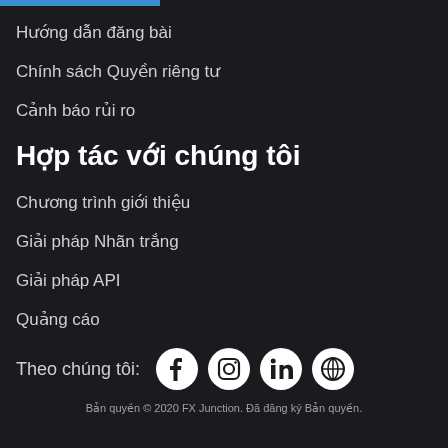Hướng dẫn đăng bài
Chính sách Quyền riêng tư
Cảnh báo rủi ro
Hợp tác với chúng tôi
Chương trình giới thiệu
Giải pháp Nhãn trắng
Giải pháp API
Quảng cáo
Theo chúng tôi:
Bản quyền © 2020 FX Junction. Đã đăng ký Bản quyền.